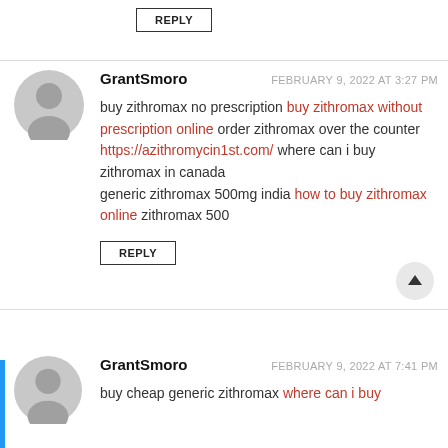REPLY
GrantSmoro — FEBRUARY 9, 2022 AT 3:27 PM
buy zithromax no prescription buy zithromax without prescription online order zithromax over the counter https://azithromycin1st.com/ where can i buy zithromax in canada generic zithromax 500mg india how to buy zithromax online zithromax 500
REPLY
GrantSmoro — FEBRUARY 9, 2022 AT 7:41 PM
buy cheap generic zithromax where can i buy